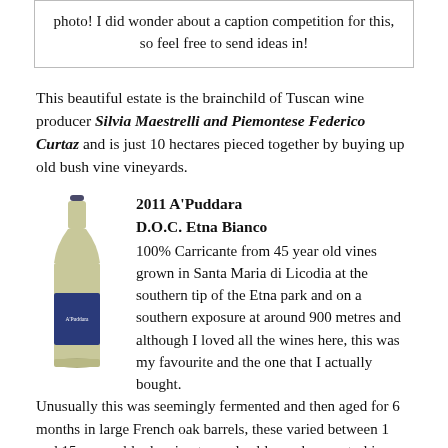photo! I did wonder about a caption competition for this, so feel free to send ideas in!
This beautiful estate is the brainchild of Tuscan wine producer Silvia Maestrelli and Piemontese Federico Curtaz and is just 10 hectares pieced together by buying up old bush vine vineyards.
[Figure (photo): A bottle of 2011 A'Puddara D.O.C. Etna Bianco wine with a blue label]
2011 A'Puddara
D.O.C. Etna Bianco
100% Carricante from 45 year old vines grown in Santa Maria di Licodia at the southern tip of the Etna park and on a southern exposure at around 900 metres and although I loved all the wines here, this was my favourite and the one that I actually bought.
Unusually this was seemingly fermented and then aged for 6 months in large French oak barrels, these varied between 1 and 15 years old – leaning towards older and so neutral in taste – but and also not begin to this is actually a detect from the